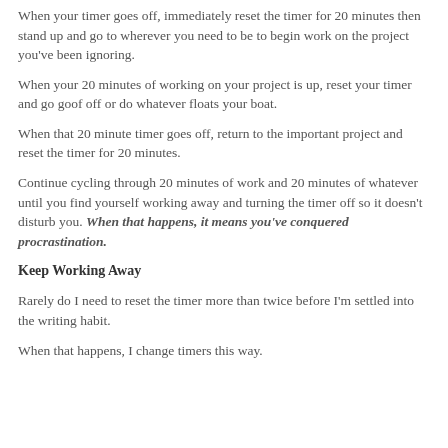When your timer goes off, immediately reset the timer for 20 minutes then stand up and go to wherever you need to be to begin work on the project you've been ignoring.
When your 20 minutes of working on your project is up, reset your timer and go goof off or do whatever floats your boat.
When that 20 minute timer goes off, return to the important project and reset the timer for 20 minutes.
Continue cycling through 20 minutes of work and 20 minutes of whatever until you find yourself working away and turning the timer off so it doesn't disturb you. When that happens, it means you've conquered procrastination.
Keep Working Away
Rarely do I need to reset the timer more than twice before I'm settled into the writing habit.
When that happens, I change timers this way.